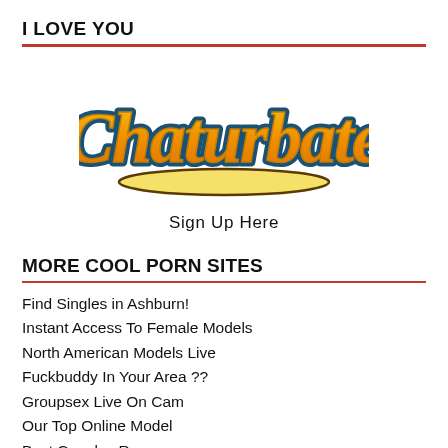I LOVE YOU
[Figure (logo): Chaturbate logo - orange and yellow script text with teal/blue outline on a white background, with a stylized underline]
Sign Up Here
MORE COOL PORN SITES
Find Singles in Ashburn!
Instant Access To Female Models
North American Models Live
Fuckbuddy In Your Area ??
Groupsex Live On Cam
Our Top Online Model
Best Couples Room
Couples Chat And Masturbate
Live Transsexual Cam Chat